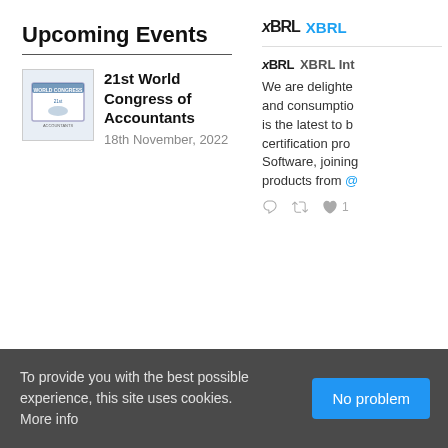Upcoming Events
21st World Congress of Accountants — 18th November, 2022
[Figure (logo): XBRL logo and XBRL Twitter handle link]
[Figure (screenshot): XBRL International tweet: We are delighted and consumption is the latest to b certification pro Software, joining products from @]
To provide you with the best possible experience, this site uses cookies. More info